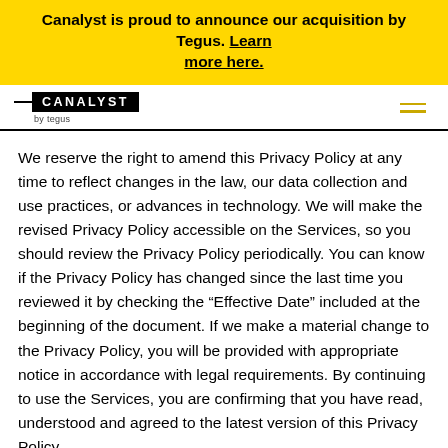Canalyst is proud to announce our acquisition by Tegus. Learn more here.
[Figure (logo): Canalyst by Tegus logo — white text on black background with hamburger menu icon]
We reserve the right to amend this Privacy Policy at any time to reflect changes in the law, our data collection and use practices, or advances in technology. We will make the revised Privacy Policy accessible on the Services, so you should review the Privacy Policy periodically. You can know if the Privacy Policy has changed since the last time you reviewed it by checking the “Effective Date” included at the beginning of the document. If we make a material change to the Privacy Policy, you will be provided with appropriate notice in accordance with legal requirements. By continuing to use the Services, you are confirming that you have read, understood and agreed to the latest version of this Privacy Policy.